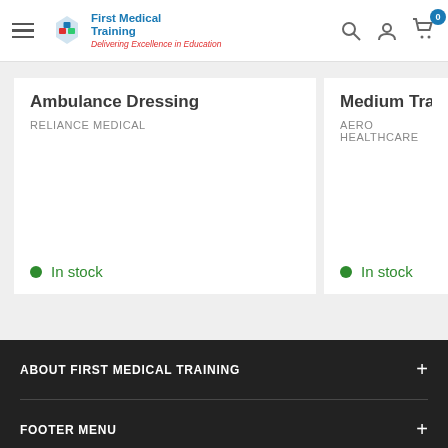First Medical Training – site header with navigation and cart (0 items)
Ambulance Dressing
RELIANCE MEDICAL
In stock
Medium Trauma D...
AERO HEALTHCARE
In stock
ABOUT FIRST MEDICAL TRAINING
FOOTER MENU
USEFUL LINKS